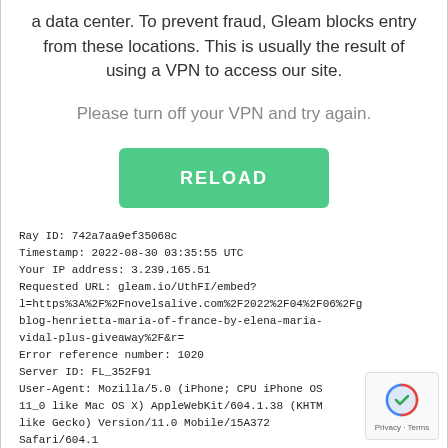a data center. To prevent fraud, Gleam blocks entry from these locations. This is usually the result of using a VPN to access our site.
Please turn off your VPN and try again.
[Figure (other): Green RELOAD button]
Ray ID: 742a7aa9ef35068c
Timestamp: 2022-08-30 03:35:55 UTC
Your IP address: 3.239.165.51
Requested URL: gleam.io/UthFI/embed?l=https%3A%2F%2Fnovelsalive.com%2F2022%2F04%2F06%2Fblog-henrietta-maria-of-france-by-elena-maria-vidal-plus-giveaway%2F&r=
Error reference number: 1020
Server ID: FL_352F91
User-Agent: Mozilla/5.0 (iPhone; CPU iPhone OS 11_0 like Mac OS X) AppleWebKit/604.1.38 (KHTML like Gecko) Version/11.0 Mobile/15A372 Safari/604.1
[Figure (other): reCAPTCHA badge with Privacy - Terms text]